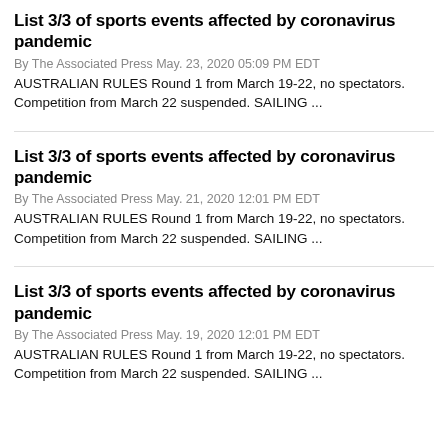List 3/3 of sports events affected by coronavirus pandemic
By The Associated Press May. 23, 2020 05:09 PM EDT
AUSTRALIAN RULES Round 1 from March 19-22, no spectators. Competition from March 22 suspended. SAILING ...
List 3/3 of sports events affected by coronavirus pandemic
By The Associated Press May. 21, 2020 12:01 PM EDT
AUSTRALIAN RULES Round 1 from March 19-22, no spectators. Competition from March 22 suspended. SAILING ...
List 3/3 of sports events affected by coronavirus pandemic
By The Associated Press May. 19, 2020 12:01 PM EDT
AUSTRALIAN RULES Round 1 from March 19-22, no spectators. Competition from March 22 suspended. SAILING ...